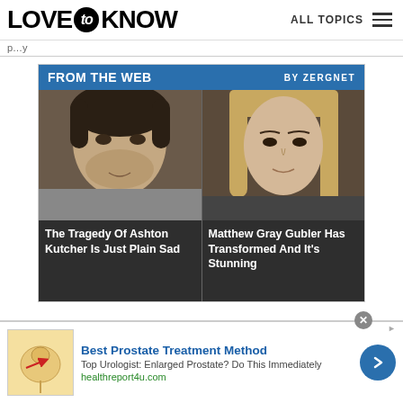LOVE to KNOW   ALL TOPICS
p...y
[Figure (infographic): From The Web by Zergnet widget showing two celebrity article thumbnails: 'The Tragedy Of Ashton Kutcher Is Just Plain Sad' and 'Matthew Gray Gubler Has Transformed And It's Stunning']
[Figure (infographic): Advertisement banner: Best Prostate Treatment Method. Top Urologist: Enlarged Prostate? Do This Immediately. healthreport4u.com]